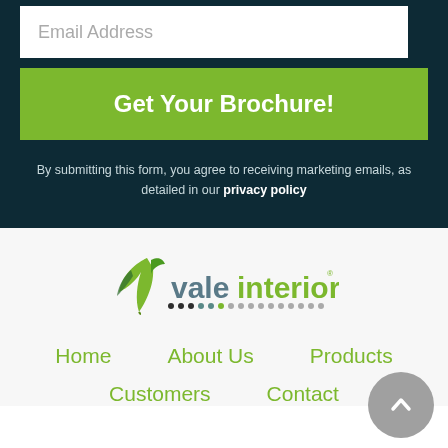Email Address
Get Your Brochure!
By submitting this form, you agree to receiving marketing emails, as detailed in our privacy policy
[Figure (logo): Vale Interiors logo with green leaf icon and company name in grey/green text]
Home   About Us   Products
Customers   Contact